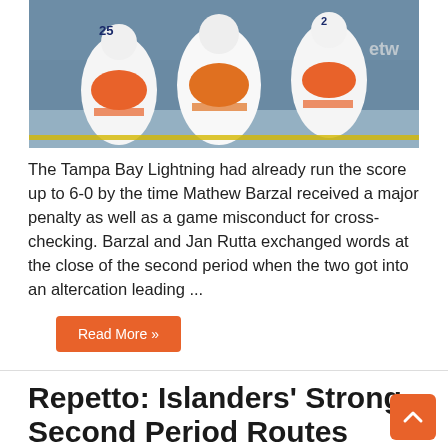[Figure (photo): New York Islanders hockey players on ice in white and orange jerseys]
The Tampa Bay Lightning had already run the score up to 6-0 by the time Mathew Barzal received a major penalty as well as a game misconduct for cross-checking. Barzal and Jan Rutta exchanged words at the close of the second period when the two got into an altercation leading ...
Read More »
Repetto: Islanders' Strong Second Period Routes Game 4 Victory
© June 20, 2021   Home, Takes, The Team   Comments Off
[Figure (photo): Islanders players close-up photo]